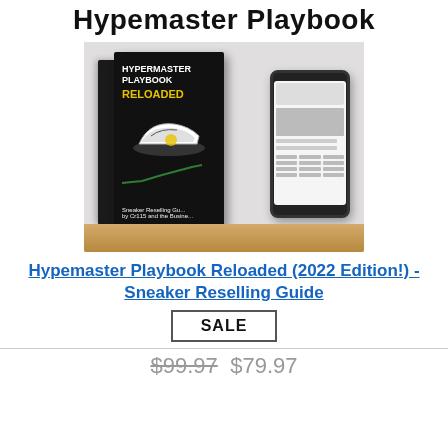Hypemaster Playbook
[Figure (photo): Product photo showing Hypermaster Playbook Reloaded book cover and phone mockup on a wooden surface with grey background]
Hypemaster Playbook Reloaded (2022 Edition!) - Sneaker Reselling Guide
SALE
$99.97 $79.97